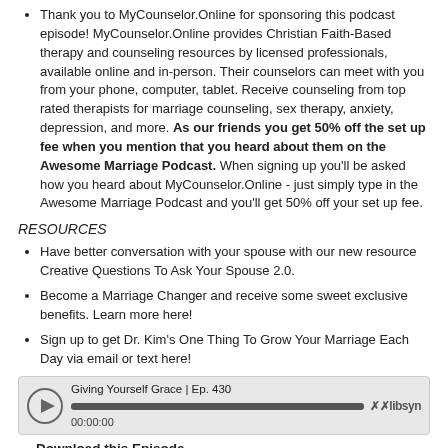Thank you to MyCounselor.Online for sponsoring this podcast episode! MyCounselor.Online provides Christian Faith-Based therapy and counseling resources by licensed professionals, available online and in-person. Their counselors can meet with you from your phone, computer, tablet. Receive counseling from top rated therapists for marriage counseling, sex therapy, anxiety, depression, and more. As our friends you get 50% off the set up fee when you mention that you heard about them on the Awesome Marriage Podcast. When signing up you'll be asked how you heard about MyCounselor.Online - just simply type in the Awesome Marriage Podcast and you'll get 50% off your set up fee.
RESOURCES
Have better conversation with your spouse with our new resource Creative Questions To Ask Your Spouse 2.0.
Become a Marriage Changer and receive some sweet exclusive benefits. Learn more here!
Sign up to get Dr. Kim's One Thing To Grow Your Marriage Each Day via email or text here!
[Figure (screenshot): Audio player widget showing episode 'Giving Yourself Grace | Ep. 430' with play button, progress bar, timestamp 00:00:00, and Libsyn logo]
Download this Episode